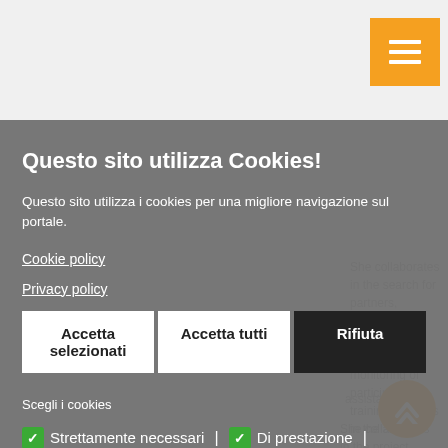[Figure (screenshot): Orange hamburger menu button in top right corner]
She collaborates in the search for partners, organizing opportunities, training and monitoring of participants in training activities in the area.
assistant
She collaborates in the project editing, in the
Questo sito utilizza Cookies!
Questo sito utilizza i cookies per una migliore navigazione sul portale.
Cookie policy
Privacy policy
Accetta selezionati | Accetta tutti | Rifiuta
Scegli i cookies
Strettamente necessari | Di prestazione |
Di funzionalità | Di marketing